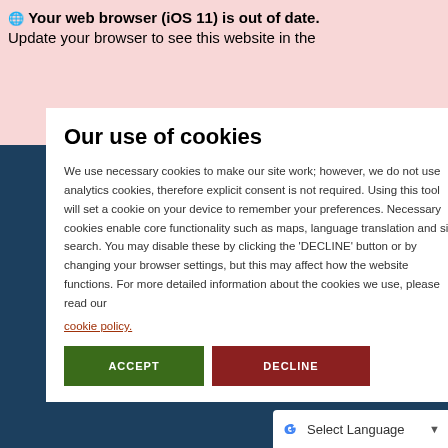Your web browser (iOS 11) is out of date. Update your browser to see this website in the best way, including better security.
Our use of cookies
We use necessary cookies to make our site work; however, we do not use analytics cookies, therefore explicit consent is not required. Using this tool will set a cookie on your device to remember your preferences. Necessary cookies enable core functionality such as maps, language translation and site search. You may disable these by clicking the 'DECLINE' button or by changing your browser settings, but this may affect how the website functions. For more detailed information about the cookies we use, please read our
cookie policy.
ACCEPT
DECLINE
nts reserved.
Select Language